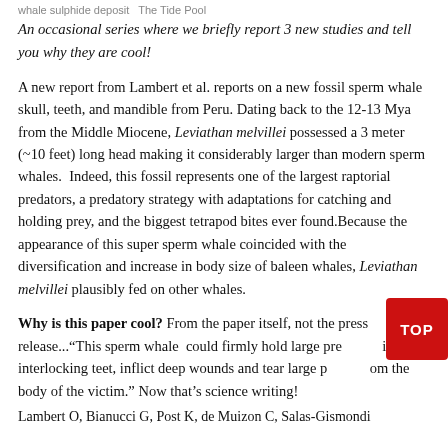whale sulphide deposit  The Tide Pool
An occasional series where we briefly report 3 new studies and tell you why they are cool!
A new report from Lambert et al. reports on a new fossil sperm whale skull, teeth, and mandible from Peru. Dating back to the 12-13 Mya from the Middle Miocene, Leviathan melvillei possessed a 3 meter (~10 feet) long head making it considerably larger than modern sperm whales.  Indeed, this fossil represents one of the largest raptorial predators, a predatory strategy with adaptations for catching and holding prey, and the biggest tetrapod bites ever found.Because the appearance of this super sperm whale coincided with the diversification and increase in body size of baleen whales, Leviathan melvillei plausibly fed on other whales.
Why is this paper cool? From the paper itself, not the press release..."This sperm whale  could firmly hold large prey with its interlocking teet, inflict deep wounds and tear large pieces from the body of the victim." Now that’s science writing!
Lambert O, Bianucci G, Post K, de Muizon C, Salas-Gismondi